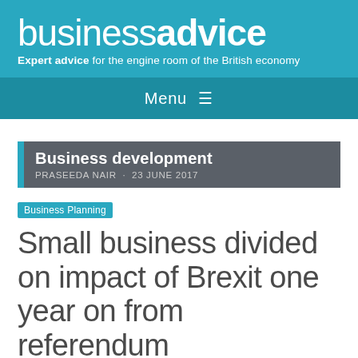businessadvice — Expert advice for the engine room of the British economy
Menu ☰
Business development — PRASEEDA NAIR · 23 JUNE 2017
Business Planning  Small business divided on impact of Brexit one year on from referendum